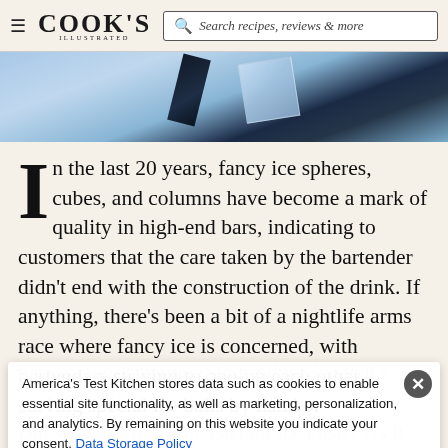Cook's Illustrated — Search recipes, reviews & more
[Figure (photo): Blue-toned hero image showing fancy ice — dark block and translucent ice piece against a light blue background]
In the last 20 years, fancy ice spheres, cubes, and columns have become a mark of quality in high-end bars, indicating to customers that the care taken by the bartender didn't end with the construction of the drink. If anything, there's been a bit of a nightlife arms race where fancy ice is concerned, with bartenders striving to one-up each other, carving special ice balls by hand or
developing techniques to produce ice that's perfectly clear.
America's Test Kitchen stores data such as cookies to enable essential site functionality, as well as marketing, personalization, and analytics. By remaining on this website you indicate your consent. Data Storage Policy
But what is clear ice? Isn't all ice clear? As it turns out, no. As researched by cocktail writer Camper